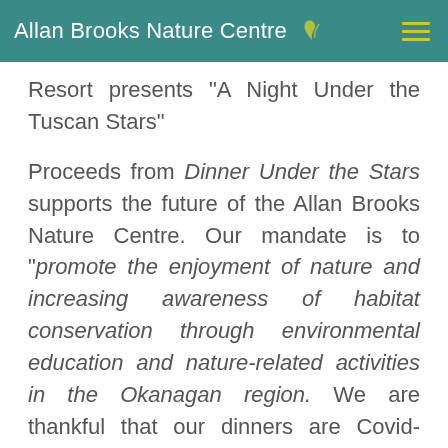Allan Brooks Nature Centre
Resort presents "A Night Under the Tuscan Stars"
Proceeds from Dinner Under the Stars supports the future of the Allan Brooks Nature Centre. Our mandate is to "promote the enjoyment of nature and increasing awareness of habitat conservation through environmental education and nature-related activities in the Okanagan region." We are thankful that our dinners are Covid-friendly so that we can continue to provide outstanding experiences in nature, and also